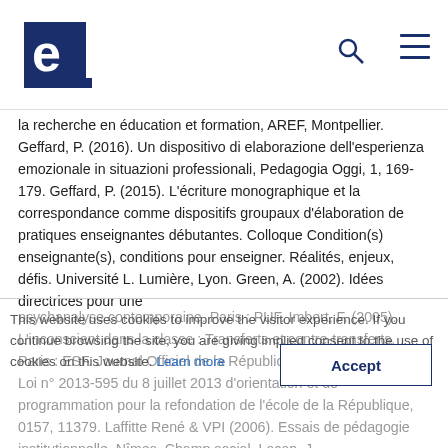e [logo] [search] [menu]
la recherche en éducation et formation, AREF, Montpellier. Geffard, P. (2016). Un dispositivo di elaborazione dell'esperienza emozionale in situazioni professionali, Pedagogia Oggi, 1, 169-179. Geffard, P. (2015). L'écriture monographique et la correspondance comme dispositifs groupaux d'élaboration de pratiques enseignantes débutantes. Colloque Condition(s) enseignante(s), conditions pour enseigner. Réalités, enjeux, défis. Université L. Lumière, Lyon. Green, A. (2002). Idées directrices pour une
psychanalyse contemporaine. Paris : PUF. Imbert, F. (2005). L'inconscient dans la classe : Transferts et contre-transferts. Paris : ESF. Journal Officiel de la République Française (2013). Loi n° 2013-595 du 8 juillet 2013 d'orientation et de programmation pour la refondation de l'école de la République, 0157, 11379. Laffitte René & VPI (2006). Essais de pédagogie institutionnelle. Nîmes. Champ social. Lacan, J.
This website uses cookies to improve the visitor experience. If you continue browsing the site, you are giving implied consent to the use of cookies on this website. Learn more
Accept